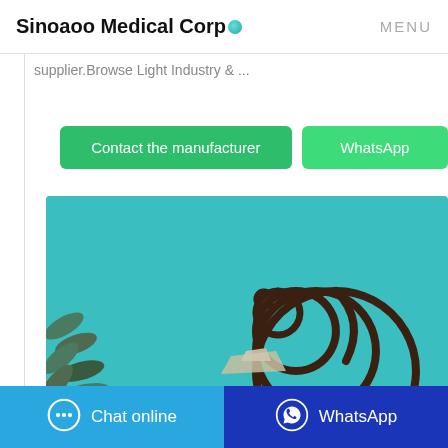Sinoaoo Medical Corp • MENU
supplier.Browse Light Industry & ...
Contact the manufacturer | WhatsApp
[Figure (photo): A mosquito coil spiral on a teal background with leaves]
Chat online | WhatsApp